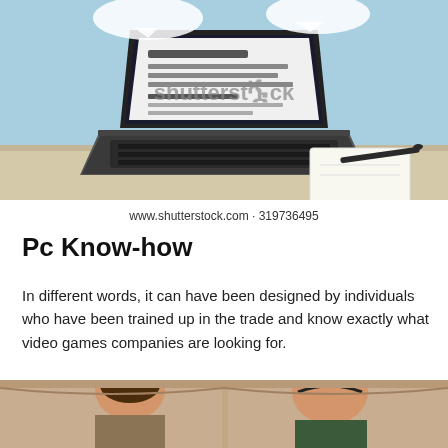[Figure (illustration): Illustration of a laptop on a desk with speech bubbles, showing a webpage on screen. Shutterstock watermark visible. Light blue background.]
www.shutterstock.com · 319736495
Pc Know-how
In different words, it can have been designed by individuals who have been trained up in the trade and know exactly what video games companies are looking for.
[Figure (photo): Partial photo at bottom showing two people (a woman and a man) in what appears to be an interior setting.]